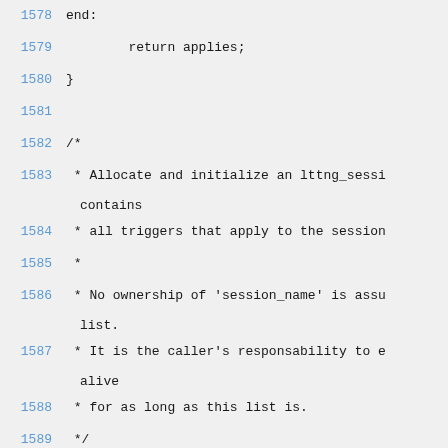1578  end:
1579          return applies;
1580  }
1581
1582  /*
1583   * Allocate and initialize an lttng_sessi contains
1584   * all triggers that apply to the session
1585   *
1586   * No ownership of 'session_name' is assu list.
1587   * It is the caller's responsability to e alive
1588   * for as long as this list is.
1589   */
1590  static
1591  struct lttng_session_trigger_list *lttng